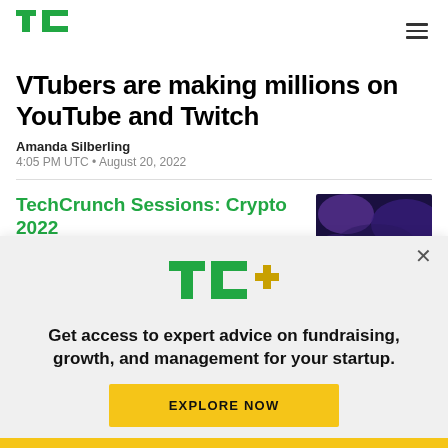TechCrunch logo and navigation
VTubers are making millions on YouTube and Twitch
Amanda Silberling
4:05 PM UTC • August 20, 2022
TechCrunch Sessions: Crypto 2022
[Figure (screenshot): TechCrunch Sessions Crypto banner image, November 17, Miami FL]
[Figure (logo): TC+ logo in green with plus sign in yellow-gold]
Get access to expert advice on fundraising, growth, and management for your startup.
EXPLORE NOW